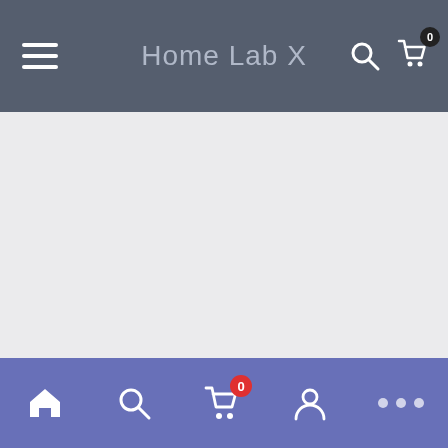Home Lab X
[Figure (screenshot): Mobile app screenshot showing 'Home Lab X' top navigation bar with hamburger menu, search icon, and cart icon with badge 0. Large empty grey content area in the middle. Bottom navigation bar with home, search, cart (badge 0), profile, and more (dots) icons on purple/indigo background.]